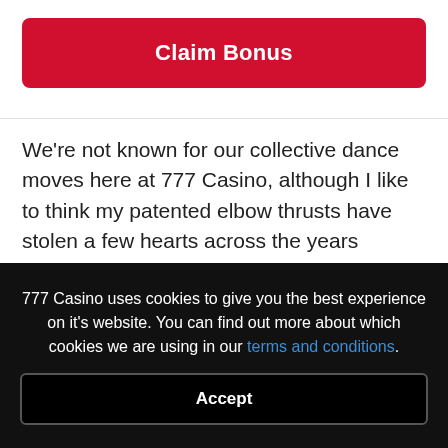Claim Bonus
We're not known for our collective dance moves here at 777 Casino, although I like to think my patented elbow thrusts have stolen a few hearts across the years (NOTE: they haven't). But even we can't fail to tap a toe, nod a head and swing some shoulders while playing Play n' Go's Spin Party. This is a slot that invites you to join the throbbing dancefloor of a tub-thumbing rave – complete with some pound tunes (or 'choonz' as we like to spell it).
777 Casino uses cookies to give you the best experience on it's website. You can find out more about which cookies we are using in our terms and conditions.
Accept